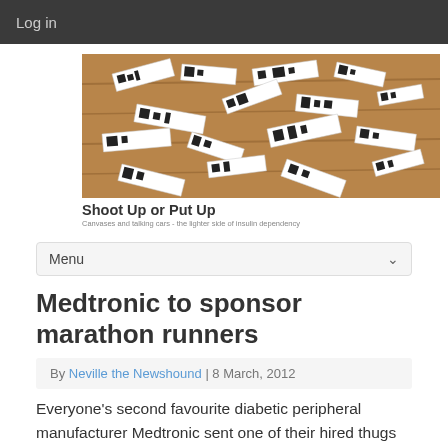Log in
[Figure (photo): Photo of scattered black and white paper strips/tags on a wooden surface, banner image for 'Shoot Up or Put Up' website]
Shoot Up or Put Up
Canvases and talking cars - the lighter side of insulin dependency
Menu
Medtronic to sponsor marathon runners
By Neville the Newshound | 8 March, 2012
Everyone's second favourite diabetic peripheral manufacturer Medtronic sent one of their hired thugs around to my kennel this morning and threatened to